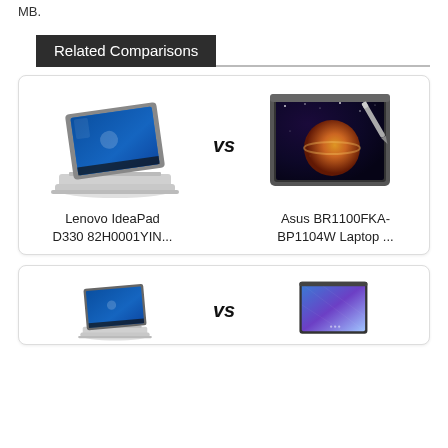MB.
Related Comparisons
[Figure (illustration): Comparison card showing Lenovo IdeaPad D330 82H0001YIN laptop vs Asus BR1100FKA-BP1104W Laptop with VS label in center]
Lenovo IdeaPad
D330 82H0001YIN...
Asus BR1100FKA-
BP1104W Laptop ...
[Figure (illustration): Second comparison card showing another laptop vs a tablet/laptop device with VS label in center]